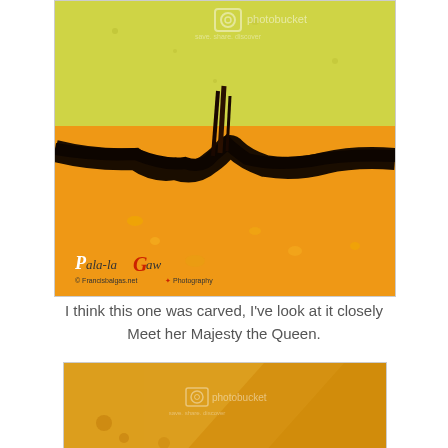[Figure (photo): Close-up macro photograph of what appears to be citrus fruit skin with a dark crack/crevice running horizontally across the image. The upper portion shows yellow-green textured skin with a Photobucket watermark, the lower portion shows golden-orange color with the Pala-la Gaw photography watermark logo in the lower left corner.]
I think this one was carved, I've look at it closely Meet her Majesty the Queen.
[Figure (photo): Close-up macro photograph showing golden-orange translucent material, possibly amber or citrus fruit flesh, with a Photobucket watermark overlaid.]